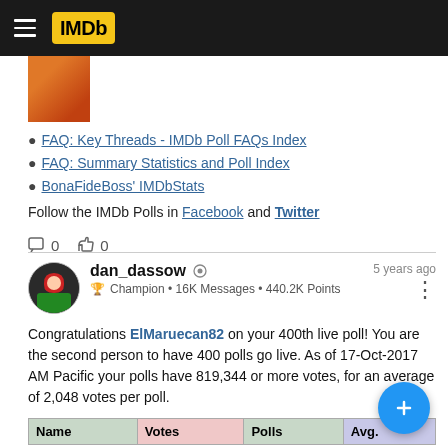IMDb
[Figure (photo): Partial movie thumbnail image visible at top]
FAQ: Key Threads - IMDb Poll FAQs Index
FAQ: Summary Statistics and Poll Index
BonaFideBoss' IMDbStats
Follow the IMDb Polls in Facebook and Twitter
0  0
dan_dassow  Champion • 16K Messages • 440.2K Points  5 years ago
Congratulations ElMaruecan82 on your 400th live poll! You are the second person to have 400 polls go live. As of 17-Oct-2017 AM Pacific your polls have 819,344 or more votes, for an average of 2,048 votes per poll.
| Name | Votes | Polls | Avg. |
| --- | --- | --- | --- |